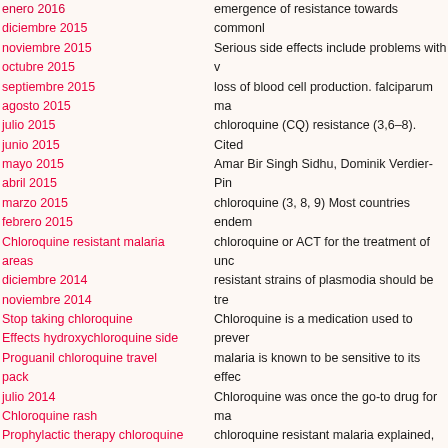enero 2016
diciembre 2015
noviembre 2015
octubre 2015
septiembre 2015
agosto 2015
julio 2015
junio 2015
mayo 2015
abril 2015
marzo 2015
febrero 2015
Chloroquine resistant malaria areas
diciembre 2014
noviembre 2014
Stop taking chloroquine
Effects hydroxychloroquine side
Proguanil chloroquine travel pack
julio 2014
Chloroquine rash
Prophylactic therapy chloroquine
abril 2014
marzo 2014
Sigma and chloroquine
Chloroquine 2011
Hydroxychloroquine liver
emergence of resistance towards common... Serious side effects include problems with v... loss of blood cell production. falciparum ma... chloroquine (CQ) resistance (3,6–8). Cited ... Amar Bir Singh Sidhu, Dominik Verdier-Pin... chloroquine (3, 8, 9) Most countries endem... chloroquine or ACT for the treatment of unc... resistant strains of plasmodia should be tre... Chloroquine is a medication used to prever... malaria is known to be sensitive to its effec... Chloroquine was once the go-to drug for ma... chloroquine resistant malaria explained, bu... parasite evolved and developed resistance ... of Plasmodium falciparum malaria first appe... Chloroquine is still widely used against the ... to treat autoimmune disorders and some ca... caused by the amoeba Entamoeba histolyti... amebiasis that is occurring outside the intes... erythematosus. Recent laboratory and clini... It is also used with proguanil when chloroq... present. — With assistance by Olivia Rocke... surveillance data collected during the past 2... diagnostic assays for PfCRT mutations are...